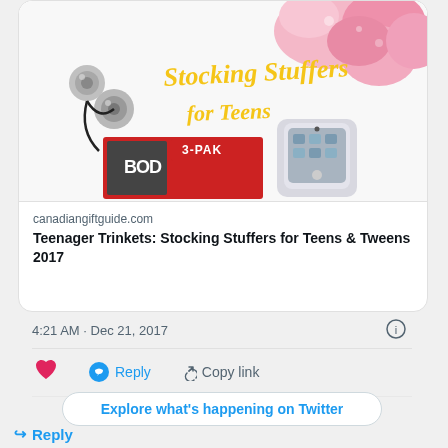[Figure (screenshot): Twitter/social media post card showing a promotional image for 'Stocking Stuffers for Teens' from canadiangiftguide.com. The image shows pink bath bombs, earbuds/jingle bells, a BOD 3-PAK product, and a phone case. Text overlay reads 'Stocking Stuffers for Teens' in yellow script.]
canadiangiftguide.com
Teenager Trinkets: Stocking Stuffers for Teens & Tweens 2017
4:21 AM · Dec 21, 2017
Reply
Copy link
Explore what's happening on Twitter
↪ Reply